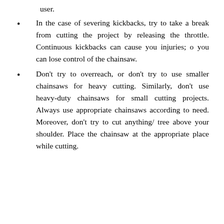user.
In the case of severing kickbacks, try to take a break from cutting the project by releasing the throttle. Continuous kickbacks can cause you injuries; o you can lose control of the chainsaw.
Don't try to overreach, or don't try to use smaller chainsaws for heavy cutting. Similarly, don't use heavy-duty chainsaws for small cutting projects. Always use appropriate chainsaws according to need. Moreover, don't try to cut anything/ tree above your shoulder. Place the chainsaw at the appropriate place while cutting.